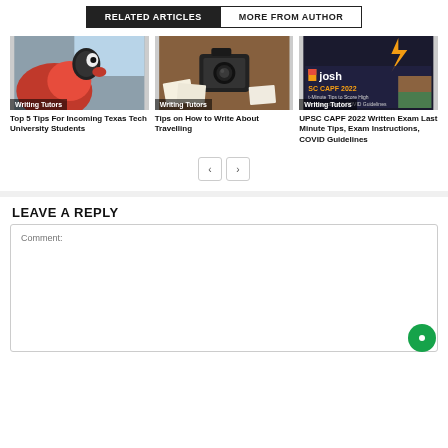RELATED ARTICLES | MORE FROM AUTHOR
[Figure (photo): Red parrot/bird mascot costume closeup photo with Writing Tutors label]
Top 5 Tips For Incoming Texas Tech University Students
[Figure (photo): Vintage camera and photos on wooden table with Writing Tutors label]
Tips on How to Write About Travelling
[Figure (screenshot): Josh UPSC CAPF 2022 exam tips graphic with Writing Tutors label]
UPSC CAPF 2022 Written Exam Last Minute Tips, Exam Instructions, COVID Guidelines
LEAVE A REPLY
Comment: